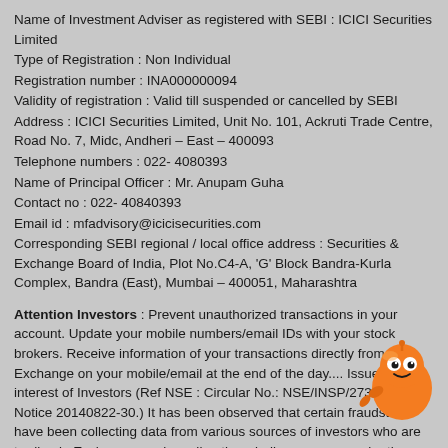Name of Investment Adviser as registered with SEBI : ICICI Securities Limited
Type of Registration : Non Individual
Registration number : INA000000094
Validity of registration : Valid till suspended or cancelled by SEBI
Address : ICICI Securities Limited, Unit No. 101, Ackruti Trade Centre, Road No. 7, Midc, Andheri – East – 400093
Telephone numbers : 022- 4080393
Name of Principal Officer : Mr. Anupam Guha
Contact no : 022- 40840393
Email id : mfadvisory@icicisecurities.com
Corresponding SEBI regional / local office address : Securities & Exchange Board of India, Plot No.C4-A, 'G' Block Bandra-Kurla Complex, Bandra (East), Mumbai – 400051, Maharashtra
Attention Investors : Prevent unauthorized transactions in your account. Update your mobile numbers/email IDs with your stock brokers. Receive information of your transactions directly from Exchange on your mobile/email at the end of the day.... Issued in the interest of Investors (Ref NSE : Circular No.: NSE/INSP/27346, BSE : Notice 20140822-30.) It has been observed that certain fraudsters have been collecting data from various sources of investors who are trading in Exchanges and sending them bulk messages under the pretext of providing investment tips and luring the investors to invest in bogus entities by promising huge profits. You are advised not to trade on the basis of SMS tips and to take an informed investment decision based on authentic sources.... issued in the interest of investor of investor.(RefNSE : circular No.: NSE/COMP/42549
[Figure (illustration): Orange cartoon mascot character (round orange figure with eyes and pointing gesture)]